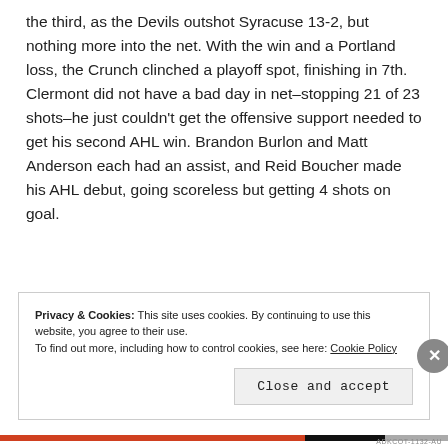the third, as the Devils outshot Syracuse 13-2, but nothing more into the net. With the win and a Portland loss, the Crunch clinched a playoff spot, finishing in 7th. Clermont did not have a bad day in net–stopping 21 of 23 shots–he just couldn't get the offensive support needed to get his second AHL win. Brandon Burlon and Matt Anderson each had an assist, and Reid Boucher made his AHL debut, going scoreless but getting 4 shots on goal.
Privacy & Cookies: This site uses cookies. By continuing to use this website, you agree to their use.
To find out more, including how to control cookies, see here: Cookie Policy
Close and accept